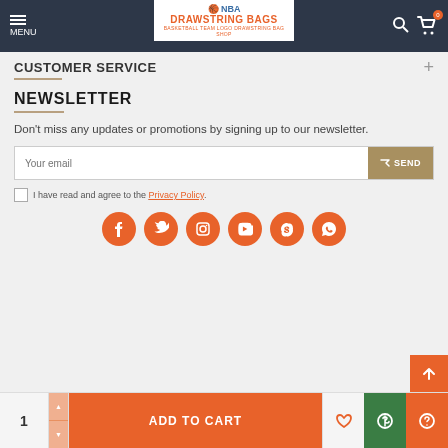[Figure (screenshot): NBA Drawstring Bags website navigation bar with menu icon, logo, search and cart icons]
CUSTOMER SERVICE
NEWSLETTER
Don't miss any updates or promotions by signing up to our newsletter.
Your email [input field] SEND button
I have read and agree to the Privacy Policy.
[Figure (infographic): Social media icons row: Facebook, Twitter, Instagram, YouTube, Skype, WhatsApp — orange circles]
[Figure (infographic): Bottom action bar: quantity selector (1), ADD TO CART button, wishlist heart, dollar sign button, help button]